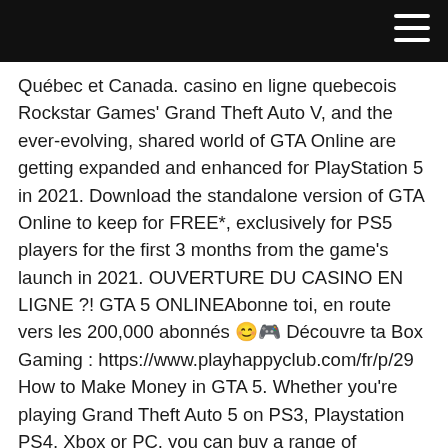[hamburger menu icon]
Québec et Canada. casino en ligne quebecois Rockstar Games' Grand Theft Auto V, and the ever-evolving, shared world of GTA Online are getting expanded and enhanced for PlayStation 5 in 2021. Download the standalone version of GTA Online to keep for FREE*, exclusively for PS5 players for the first 3 months from the game's launch in 2021. OUVERTURE DU CASINO EN LIGNE ?! GTA 5 ONLINEAbonne toi, en route vers les 200,000 abonnés 😊🎮 Découvre ta Box Gaming : https://www.playhappyclub.com/fr/p/29 How to Make Money in GTA 5. Whether you're playing Grand Theft Auto 5 on PS3, Playstation PS4, Xbox or PC, you can buy a range of packages - GTA cash drops that are deposited into your character for PC, PS3 and PS4, as well as modded accounts for Xbox 360, PS3, PC and PS4. El próximo 23 de